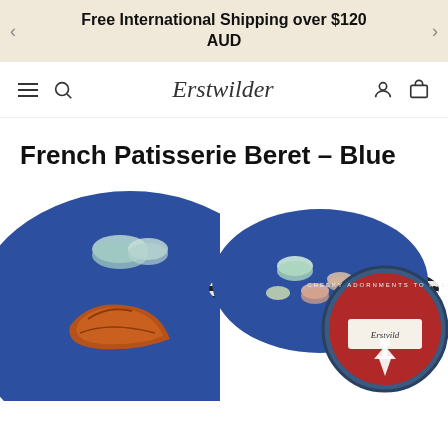Free International Shipping over $120 AUD
[Figure (screenshot): Erstwilder website navigation bar with hamburger menu, search icon, Erstwilder logo, account icon, and cart icon]
French Patisserie Beret - Blue
[Figure (photo): Two blue French Patisserie Berets - one showing close-up of embroidered macarons and croissant on blue felt, one showing beret with Erstwilder branded packaging featuring Eiffel Tower design]